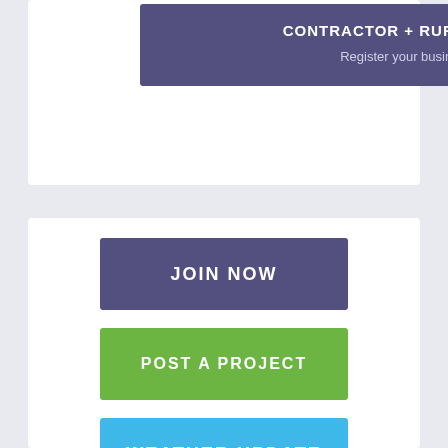CONTRACTOR + RURAL SERVICES
Register your business today
JOIN NOW
POST A PROJECT
WEATHER UPDATE